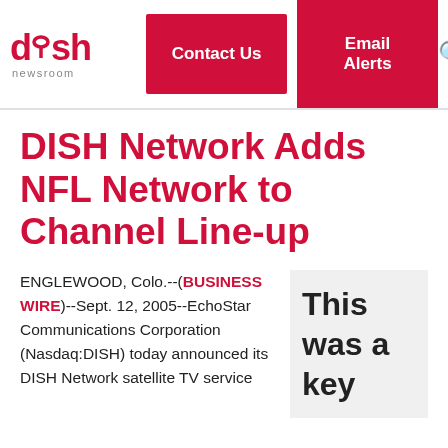DISH Newsroom | Contact Us | Email Alerts
DISH Network Adds NFL Network to Channel Line-up
ENGLEWOOD, Colo.--(BUSINESS WIRE)--Sept. 12, 2005--EchoStar Communications Corporation (Nasdaq:DISH) today announced its DISH Network satellite TV service
This was a key